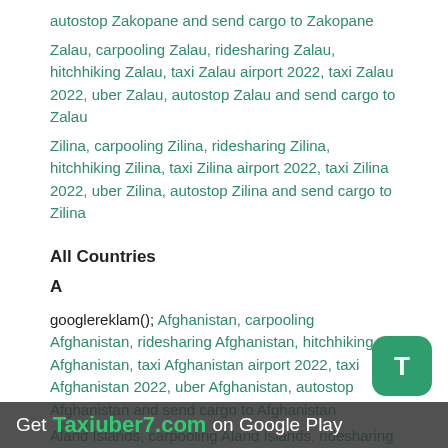autostop Zakopane and send cargo to Zakopane
Zalau, carpooling Zalau, ridesharing Zalau, hitchhiking Zalau, taxi Zalau airport 2022, taxi Zalau 2022, uber Zalau, autostop Zalau and send cargo to Zalau
Zilina, carpooling Zilina, ridesharing Zilina, hitchhiking Zilina, taxi Zilina airport 2022, taxi Zilina 2022, uber Zilina, autostop Zilina and send cargo to Zilina
All Countries
A
googlereklam(); Afghanistan, carpooling Afghanistan, ridesharing Afghanistan, hitchhiking Afghanistan, taxi Afghanistan airport 2022, taxi Afghanistan 2022, uber Afghanistan, autostop Afghanistan and send cargo to Afghanistan
Aland Islands, carpooling Aland Islands, ridesharing Aland Islands, hitchhiking Aland Islands, taxi Aland Islands airport 2022, taxi Aland Islands 2022, uber Aland Islands, autostop Aland Islands and send cargo to Aland Islands